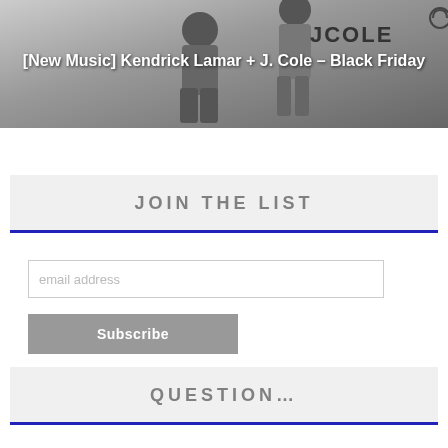[Figure (photo): Black and white photo of two men (Kendrick Lamar and J. Cole) with J COLE text/logo visible in upper right]
[New Music] Kendrick Lamar + J. Cole – Black Friday
JOIN THE LIST
email address
Subscribe
QUESTION…